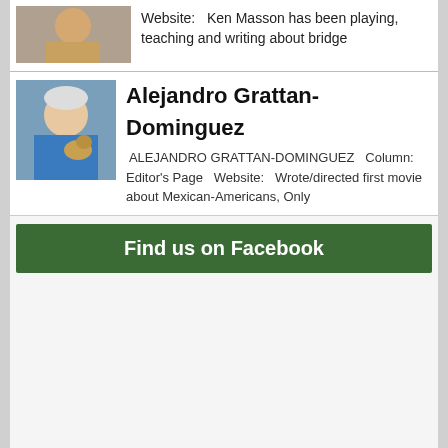Website: Ken Masson has been playing, teaching and writing about bridge
Alejandro Grattan-Dominguez
ALEJANDRO GRATTAN-DOMINGUEZ  Column: Editor's Page  Website:  Wrote/directed first movie about Mexican-Americans, Only
Find us on Facebook